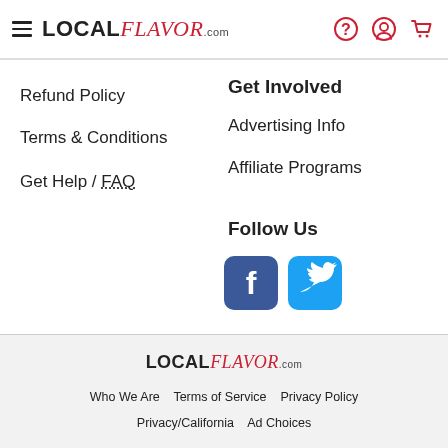LOCAL Flavor.com header with hamburger menu icon and icons for help, account, and cart
Refund Policy
Terms & Conditions
Get Help / FAQ
Get Involved
Advertising Info
Affiliate Programs
Follow Us
[Figure (logo): Facebook and Twitter social media icons]
[Figure (logo): LOCAL Flavor.com logo in footer]
Who We Are   Terms of Service   Privacy Policy   Privacy/California   Ad Choices